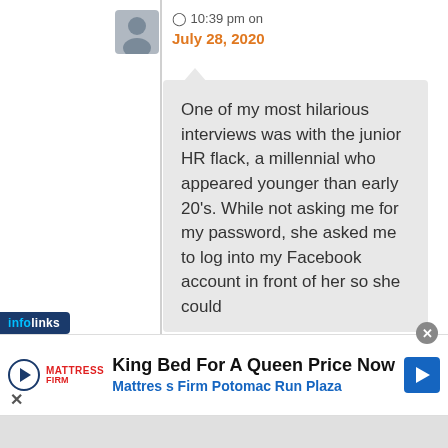[Figure (illustration): Gray silhouette avatar icon of a person]
10:39 pm on July 28, 2020
One of my most hilarious interviews was with the junior HR flack, a millennial who appeared younger than early 20's. While not asking me for my password, she asked me to log into my Facebook account in front of her so she could
[Figure (screenshot): infolinks advertisement badge and Mattress Firm ad banner: King Bed For A Queen Price Now — Mattress Firm Potomac Run Plaza]